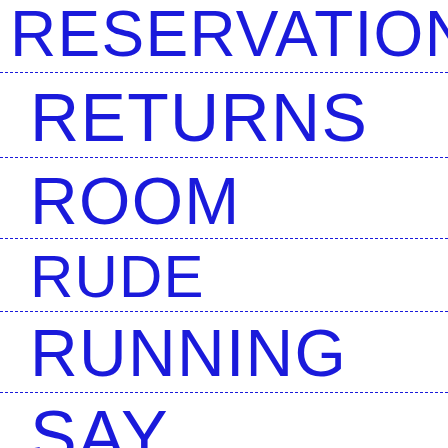RESERVATION
RETURNS
ROOM
RUDE
RUNNING
SAY
S...